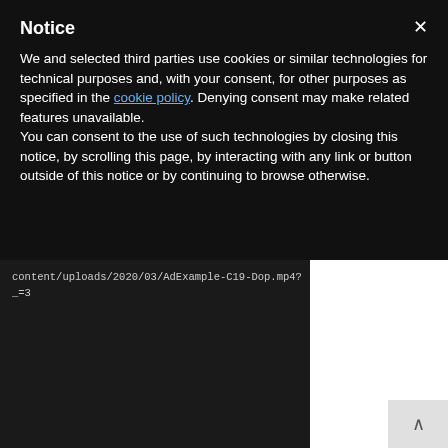Notice
We and selected third parties use cookies or similar technologies for technical purposes and, with your consent, for other purposes as specified in the cookie policy. Denying consent may make related features unavailable.
You can consent to the use of such technologies by closing this notice, by scrolling this page, by interacting with any link or button outside of this notice or by continuing to browse otherwise.
content/uploads/2020/03/AdExample-C19-Dop.mp4?_=3